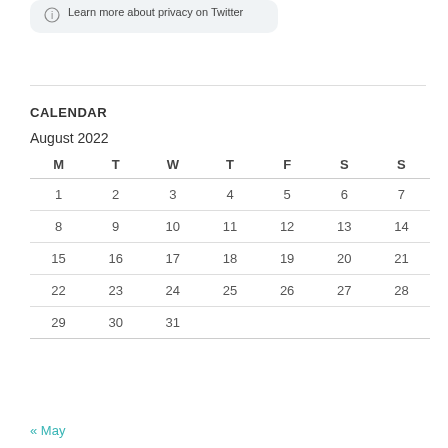Learn more about privacy on Twitter
CALENDAR
| M | T | W | T | F | S | S |
| --- | --- | --- | --- | --- | --- | --- |
| 1 | 2 | 3 | 4 | 5 | 6 | 7 |
| 8 | 9 | 10 | 11 | 12 | 13 | 14 |
| 15 | 16 | 17 | 18 | 19 | 20 | 21 |
| 22 | 23 | 24 | 25 | 26 | 27 | 28 |
| 29 | 30 | 31 |  |  |  |  |
« May